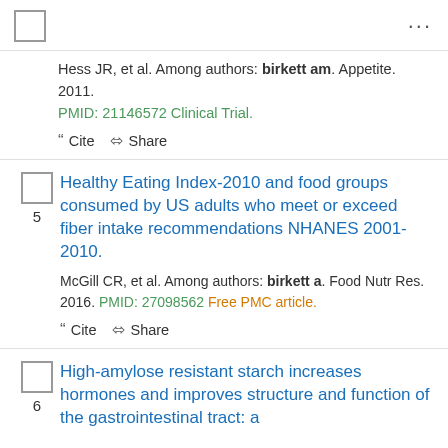... (menu dots)
Hess JR, et al. Among authors: birkett am. Appetite. 2011. PMID: 21146572 Clinical Trial.
Cite  Share
Healthy Eating Index-2010 and food groups consumed by US adults who meet or exceed fiber intake recommendations NHANES 2001-2010.
McGill CR, et al. Among authors: birkett a. Food Nutr Res. 2016. PMID: 27098562 Free PMC article.
Cite  Share
High-amylose resistant starch increases hormones and improves structure and function of the gastrointestinal tract: a